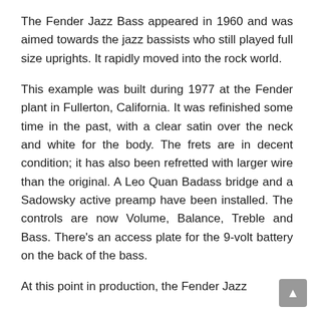The Fender Jazz Bass appeared in 1960 and was aimed towards the jazz bassists who still played full size uprights. It rapidly moved into the rock world.
This example was built during 1977 at the Fender plant in Fullerton, California. It was refinished some time in the past, with a clear satin over the neck and white for the body. The frets are in decent condition; it has also been refretted with larger wire than the original. A Leo Quan Badass bridge and a Sadowsky active preamp have been installed. The controls are now Volume, Balance, Treble and Bass. There’s an access plate for the 9-volt battery on the back of the bass.
At this point in production, the Fender Jazz